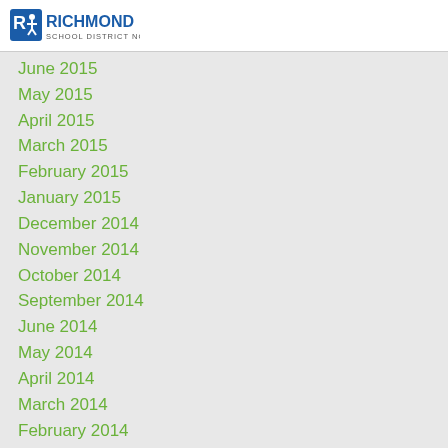Richmond School District No. 38
June 2015
May 2015
April 2015
March 2015
February 2015
January 2015
December 2014
November 2014
October 2014
September 2014
June 2014
May 2014
April 2014
March 2014
February 2014
January 2014
November 2013
October 2013
September 2013